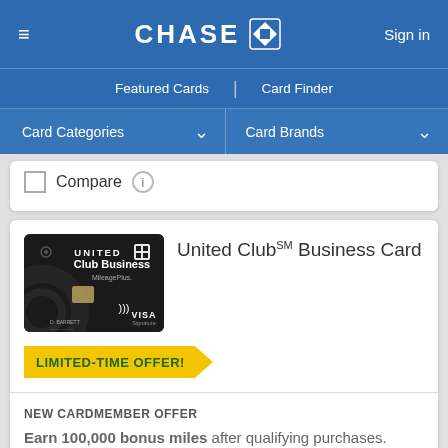CHASE — Sign in
Featured Cards | Card Finder
Card Categories | Card Brands
Compare
United Club℠ Business Card
[Figure (photo): United Club Business MileagePlus Visa Signature credit card on black background]
LIMITED-TIME OFFER!
NEW CARDMEMBER OFFER
Earn 100,000 bonus miles after qualifying purchases.